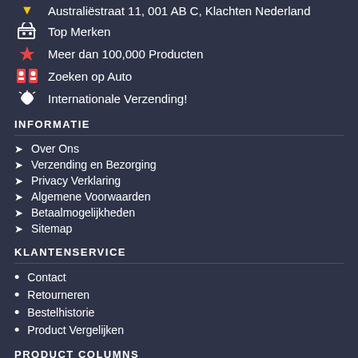Australiëstraat 11, 001 AB C, Klachten Nederland
Top Merken
Meer dan 100,000 Producten
Zoeken op Auto
Internationale Verzending!
INFORMATIE
Over Ons
Verzending en Bezorging
Privacy Verklaring
Algemene Voorwaarden
Betaalmogelijkheden
Sitemap
KLANTENSERVICE
Contact
Retourneren
Bestelhistorie
Product Vergelijken
PRODUCT COLUMNS